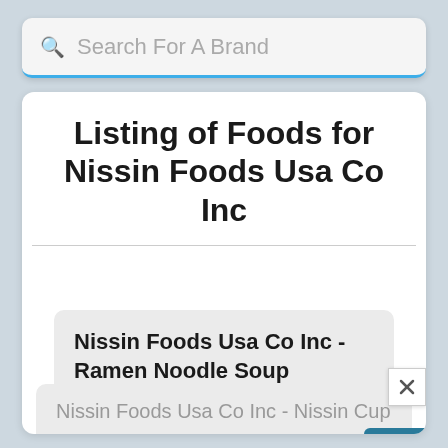[Figure (screenshot): Search bar with magnifying glass icon and placeholder text 'Search For A Brand', with blue bottom border indicating active/focused state]
Listing of Foods for Nissin Foods Usa Co Inc
Nissin Foods Usa Co Inc - Ramen Noodle Soup
View
(Source)
Nissin Foods Usa Co Inc - Nissin Cup